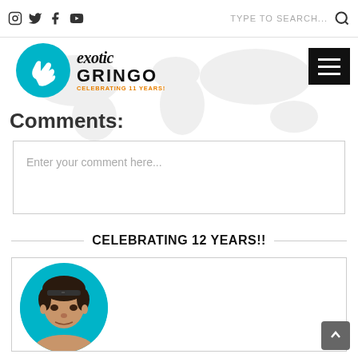Exotic Gringo - Celebrating 11 Years! - Navigation and search bar
[Figure (logo): Exotic Gringo logo with teal circle containing hand gesture, text 'exotic GRINGO CELEBRATING 11 YEARS!']
Comments:
Enter your comment here...
CELEBRATING 12 YEARS!!
[Figure (photo): Circular portrait photo of a man with sunglasses on his head against a teal background]